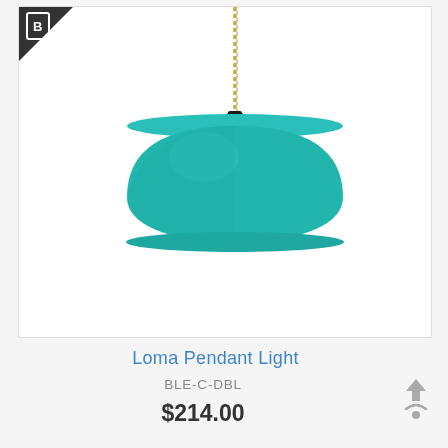[Figure (photo): Teal/turquoise dome-shaped pendant light hanging from a braided gold cord against a white background, with a small black fitting at the top of the shade. A diagonal bookmark badge is visible in the top-left corner of the image.]
Loma Pendant Light
BLE-C-DBL
$214.00